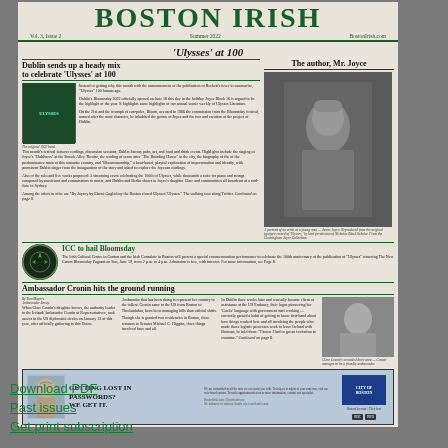BOSTON IRISH
Vol. 3, Issue 2   Summer 2022   BostonIrish.com
'Ulysses' at 100
Dublin sends up a heady mix to celebrate 'Ulysses' at 100
Body text columns about Ulysses celebrations in Dublin
[Figure (photo): The original 1922 book cover of Ulysses]
The original 1922 book
The author, Mr. Joyce
[Figure (photo): A portrait of James Joyce standing outdoors]
A portrait of an artist as a young man — James Joyce. Reproduced from the original typeface record of 'Ulysses,' by kind permission of Nicholas Black Scholar. From the Cunningham Joyce Collection.
ICC to hail Bloomsday
The Irish Cultural Centre in Canton and the Irish Consulate in Boston will present a special commemoration performance to celebrate the 100th anniversary of the publication of 'Ulysses' returning The New Canon Bloomsday Pageant on Sun, June 19, from 2 p.m. to 4 p.m. Admission is free, with internet. For more information, see Page 8.
Ambassador Cronin hits the ground running
By Tom Meyers. Ambassador Edition. When Clare Cronin's daughter knows, the authority leader to the Ireland/Ambasador Cronin of Representatives, took access in the US diplomatic circles on January 13 of this year, after officially gathering to this House.
Ambassdor that has been doing is represent her country to the fullest. Cronin came to the US from Boston to Threlandabor, been been managing bills than official shifts.
Though she is granted two residencies in Boston, three senators to Senator Michael C. Higgins, three things involved have and all.
In Dublin three weeks later and crucially became client of assistance at the US Embassy, their logos pioneering her 'Gaelic' language with government staff working — currently gained a habit of getting to know first-hand where how things worked here and all involving the people who made these logistic processes work to leave Ireland with Bosman, it's told them: 'I know I had to get an invitation to examine.' Continued on page 8.
[Figure (photo): Photo of Ambassador Cronin]
Clare Cronin's seconded three area — Cronin manages to be a friendly ambassador.
[Figure (advertisement): City of Boston advertisement: GETTING LOST IN PASSWORDS? WE GET IT.]